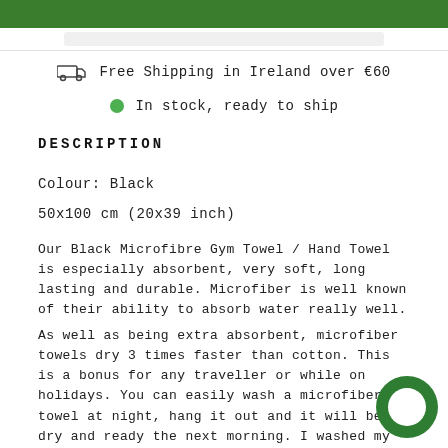[Figure (screenshot): Green top navigation bar with white site navigation links below]
Free Shipping in Ireland over €60
In stock, ready to ship
DESCRIPTION
Colour: Black
50x100 cm (20x39 inch)
Our Black Microfibre Gym Towel / Hand Towel is especially absorbent, very soft, long lasting and durable. Microfiber is well known of their ability to absorb water really well.
As well as being extra absorbent, microfiber towels dry 3 times faster than cotton. This is a bonus for any traveller or while on holidays. You can easily wash a microfiber towel at night, hang it out and it will be dry and ready the next morning. I washed my microfiber towel with my cotton towel